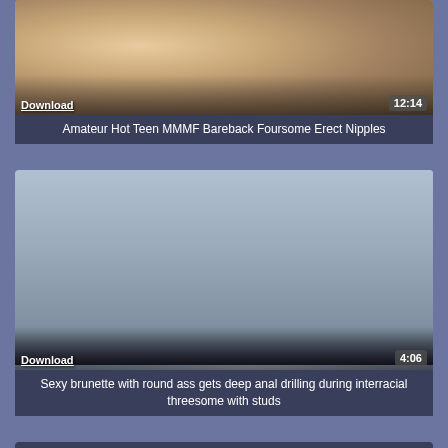[Figure (screenshot): Video thumbnail showing people in close contact, with Download link and duration 12:14 overlaid at bottom]
Amateur Hot Teen MMMF Bareback Foursome Erect Nipples
[Figure (screenshot): Video thumbnail showing three people including two wearing hard hats and one in pink, with Download link and duration 4:06 overlaid at bottom]
Sexy brunette with round ass gets deep anal drilling during interracial threesome with studs